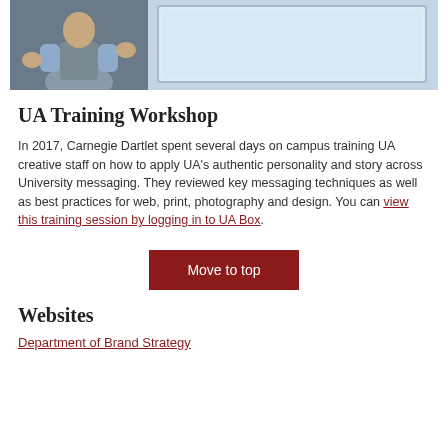[Figure (photo): A person in a vest gesturing with hands in front of a projection screen, workshop setting]
UA Training Workshop
In 2017, Carnegie Dartlet spent several days on campus training UA creative staff on how to apply UA's authentic personality and story across University messaging. They reviewed key messaging techniques as well as best practices for web, print, photography and design. You can view this training session by logging in to UA Box.
Move to top
Websites
Department of Brand Strategy